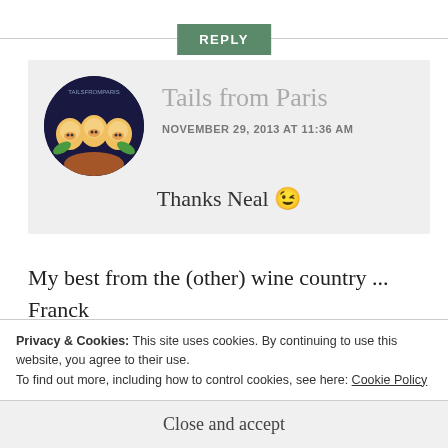REPLY
Tails from Paris
NOVEMBER 29, 2013 AT 11:36 AM
Thanks Neal 😉
My best from the (other) wine country ...
Franck
Privacy & Cookies: This site uses cookies. By continuing to use this website, you agree to their use.
To find out more, including how to control cookies, see here: Cookie Policy
Close and accept